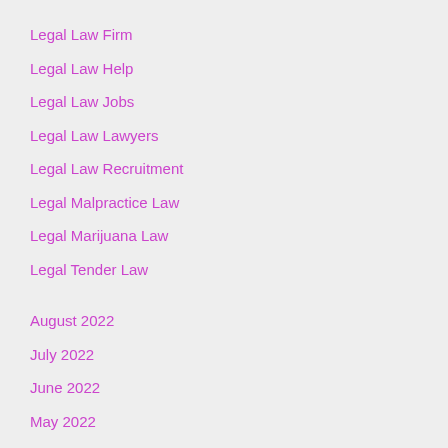Legal Law Firm
Legal Law Help
Legal Law Jobs
Legal Law Lawyers
Legal Law Recruitment
Legal Malpractice Law
Legal Marijuana Law
Legal Tender Law
August 2022
July 2022
June 2022
May 2022
April 2022